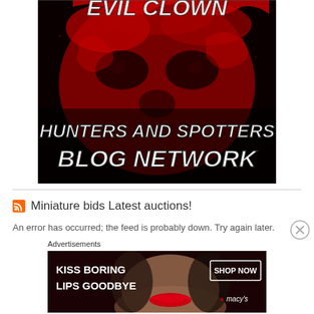[Figure (illustration): Evil Clown Hunters and Spotters Blog Network banner image — dark red and black illustration of a sinister clown face with bold white text reading 'HUNTERS AND SPOTTERS BLOG NETWORK']
Miniature bids Latest auctions!
An error has occurred; the feed is probably down. Try again later.
[Figure (illustration): Macy's advertisement banner: 'KISS BORING LIPS GOODBYE' with a woman with red lips and a SHOP NOW button with the Macy's star logo]